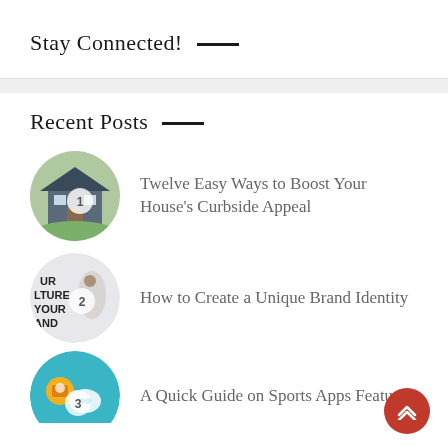Stay Connected!
Recent Posts
[Figure (photo): Circular thumbnail of a house with green lawn, numbered badge '1']
Twelve Easy Ways to Boost Your House's Curbside Appeal
[Figure (photo): Circular thumbnail of brand identity concept with text 'YOUR LTURE YOUR BAND', numbered badge '2']
How to Create a Unique Brand Identity
[Figure (photo): Circular thumbnail of a sports apps illustration, numbered badge '3']
A Quick Guide on Sports Apps Features